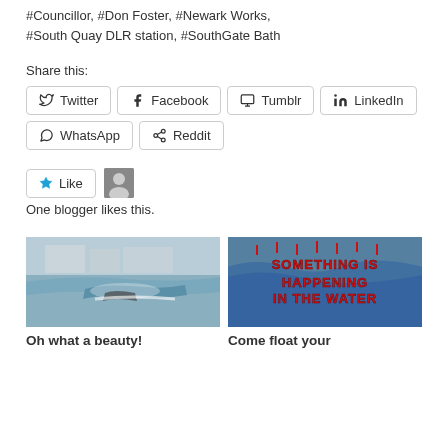#Councillor, #Don Foster, #Newark Works, #South Quay DLR station, #SouthGate Bath
Share this:
Twitter   Facebook   Tumblr   LinkedIn   WhatsApp   Reddit
[Figure (other): Like button with star icon and avatar thumbnail]
One blogger likes this.
[Figure (photo): Photo of a boat on water near a city bridge and buildings]
[Figure (photo): Image with dripping red text reading 'SOMETHING IS HAPPENING IN THE WATER' over ocean water]
Oh what a beauty!
Come float your